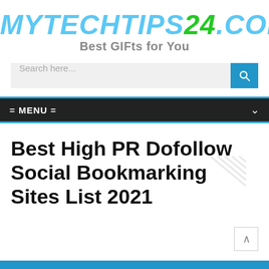[Figure (logo): MYTECHTIPS24.COM logo in large italic bold blue and green text with tagline 'Best GIFts for You' in gray below]
Search here...
= MENU =
Best High PR Dofollow Social Bookmarking Sites List 2021